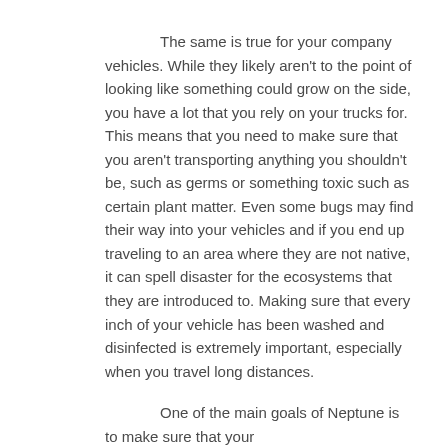The same is true for your company vehicles. While they likely aren't to the point of looking like something could grow on the side, you have a lot that you rely on your trucks for. This means that you need to make sure that you aren't transporting anything you shouldn't be, such as germs or something toxic such as certain plant matter. Even some bugs may find their way into your vehicles and if you end up traveling to an area where they are not native, it can spell disaster for the ecosystems that they are introduced to. Making sure that every inch of your vehicle has been washed and disinfected is extremely important, especially when you travel long distances.
One of the main goals of Neptune is to make sure that your